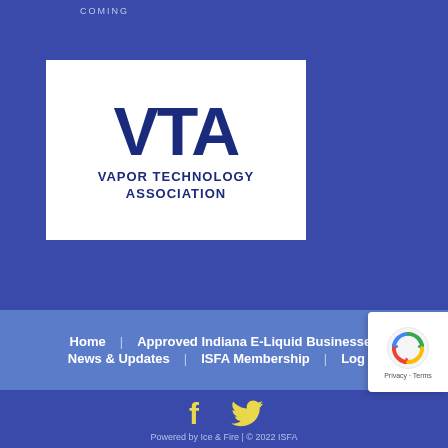[Figure (logo): VTA Vapor Technology Association logo — white rectangle with dark blue bold letters VTA on top and VAPOR TECHNOLOGY ASSOCIATION text below]
Home   Approved Indiana E-Liquid Businesses
News & Updates   ISFA Membership   Log In
[Figure (logo): reCAPTCHA badge with circular arrow logo and Privacy - Terms text]
f (Facebook icon) and bird (Twitter icon) social media icons in yellow
Powered by Ice & Fire | © 2022 ISFA